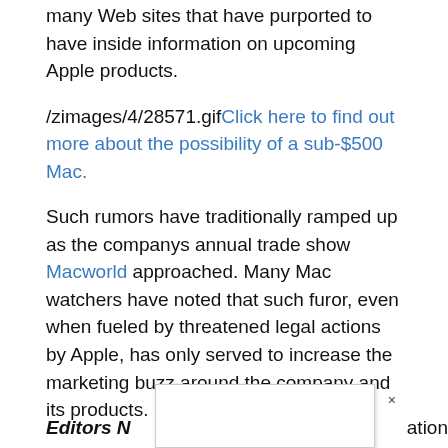many Web sites that have purported to have inside information on upcoming Apple products.
/zimages/4/28571.gifClick here to find out more about the possibility of a sub-$500 Mac.
Such rumors have traditionally ramped up as the companys annual trade show Macworld approached. Many Mac watchers have noted that such furor, even when fueled by threatened legal actions by Apple, has only served to increase the marketing buzz around the company and its products.
The next such conference is scheduled to begin Jan. 10 in San Francisco. Parts of the city have already been covered with posters for the companys popular iPod MP3 player.
Editors N ... ation